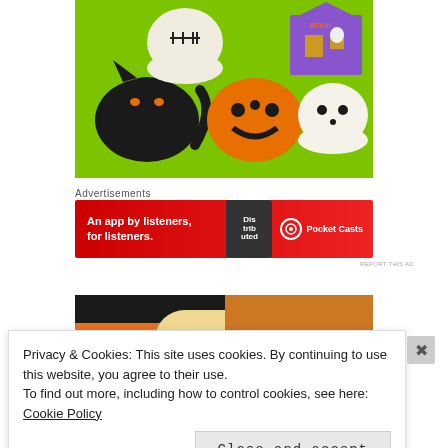[Figure (photo): Halloween sugar cookies on a bright green background: a white ghost-shaped cookie with stitches, a purple haunted house cookie with BOO! text, a black cat cookie with orange eyes, an orange pumpkin/jack-o-lantern cookie, and a white ghost cookie with black dot eyes]
Advertisements
[Figure (other): Pocket Casts advertisement banner with red background reading 'An app by listeners, for listeners.' with a phone showing 'Distributed' text and the Pocket Casts logo]
REPORT THIS AD
[Figure (photo): Partial view of another Halloween cookie with black and orange decorations]
Privacy & Cookies: This site uses cookies. By continuing to use this website, you agree to their use.
To find out more, including how to control cookies, see here: Cookie Policy
Close and accept